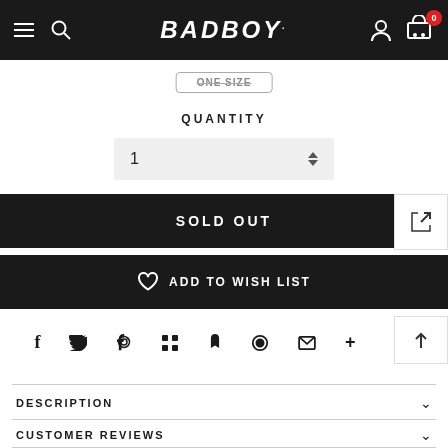BADBOY. navigation bar with hamburger menu, search, logo, profile and cart icons
ONE SIZE
QUANTITY
1
SOLD OUT
ADD TO WISH LIST
Social share icons: f, twitter, pinterest, grid, bookmark, heart, mail, plus
DESCRIPTION
CUSTOMER REVIEWS